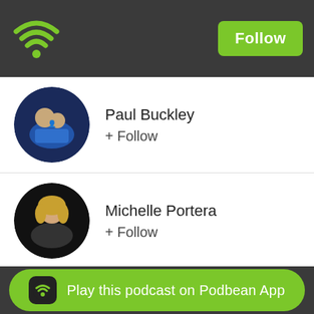[Figure (screenshot): Podbean app header with WiFi/podcast logo icon on left and green Follow button on right, on dark gray background]
Paul Buckley
+ Follow
Michelle Portera
+ Follow
hjs24fc7r4
+ Follow
melaniecolette7
+ Follow
Play this podcast on Podbean App